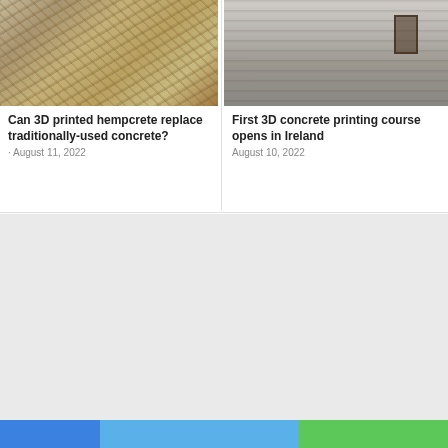[Figure (photo): Close-up of hemp wood chips/shavings material used in hempcrete construction]
Can 3D printed hempcrete replace traditionally-used concrete?
August 11, 2022
[Figure (photo): 3D concrete printed building structure in a warehouse/industrial setting showing layered concrete wall with window opening]
First 3D concrete printing course opens in Ireland
August 10, 2022
Sustainability
[Figure (photo): Sustainability magazine cover with green leaf and dark footer with logo]
[Figure (photo): Document/article pages showing text and a dark industrial corridor image]
[Figure (photo): Document/article pages with two-column layout and a small battery/component product image]